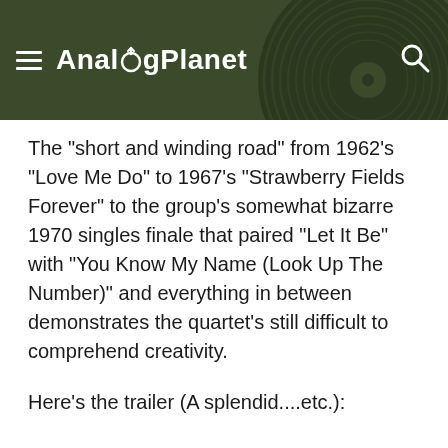AnalogPlanet
The "short and winding road" from 1962's "Love Me Do" to 1967's "Strawberry Fields Forever" to the group's somewhat bizarre 1970 singles finale that paired "Let It Be" with "You Know My Name (Look Up The Number)" and everything in between demonstrates the quartet's still difficult to comprehend creativity.
Here's the trailer (A splendid....etc.):